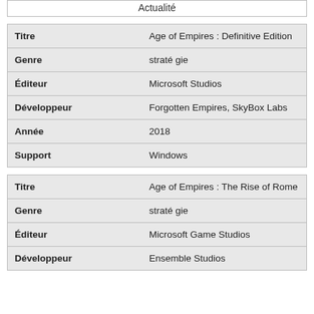Actualité
|  |  |
| --- | --- |
| Titre | Age of Empires : Definitive Edition |
| Genre | stratégie |
| Éditeur | Microsoft Studios |
| Développeur | Forgotten Empires, SkyBox Labs |
| Année | 2018 |
| Support | Windows |
|  |  |
| --- | --- |
| Titre | Age of Empires : The Rise of Rome |
| Genre | stratégie |
| Éditeur | Microsoft Game Studios |
| Développeur | Ensemble Studios |